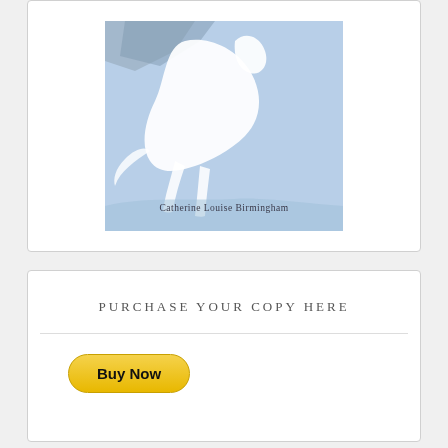[Figure (illustration): Book cover with light blue background showing white horse or pegasus figure in motion, with author name 'Catherine Louise Birmingham' at the bottom]
PURCHASE YOUR COPY HERE
[Figure (other): PayPal Buy Now button — yellow rounded rectangle button with bold text 'Buy Now']
WATCH THE NEW SERIES COVERING THE